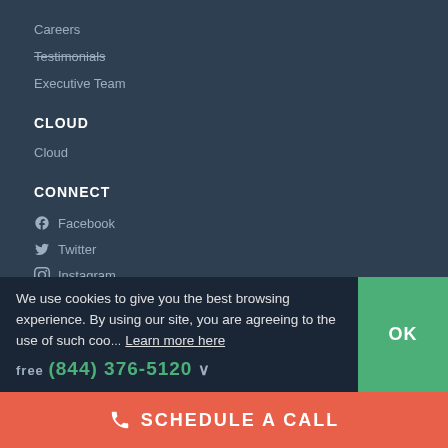Careers
Testimonials
Executive Team
CLOUD
Cloud
CONNECT
Facebook
Twitter
Instagram
ESPAÑOL
Ver nuestro sitio en Español
We use cookies to give you the best browsing experience. By using our site, you are agreeing to the use of such coo… Learn more here
free (844) 376-5120
SCHEDULE A CALL